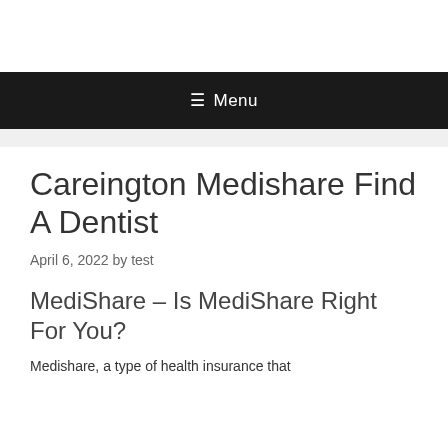Menu
Careington Medishare Find A Dentist
April 6, 2022 by test
MediShare – Is MediShare Right For You?
Medishare, a type of health insurance that